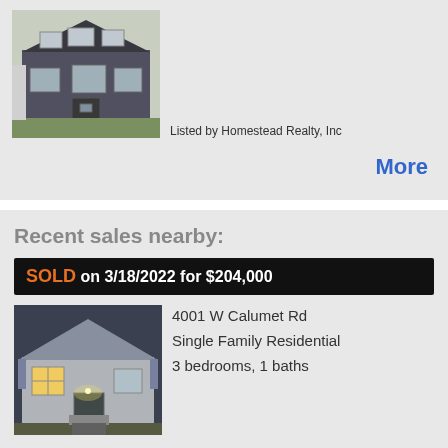[Figure (photo): Exterior photo of a gray house with white trim and multiple windows]
Listed by Homestead Realty, Inc
More
Recent sales nearby:
SOLD on 3/18/2022 for $204,000
[Figure (photo): Exterior photo of a small gray/white cape-cod style house at night with interior lights on]
4001 W Calumet Rd
Single Family Residential
3 bedrooms, 1 baths